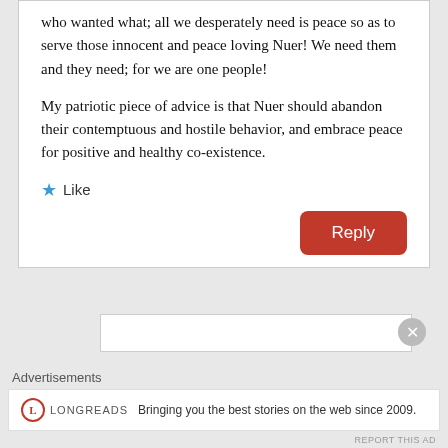who wanted what; all we desperately need is peace so as to serve those innocent and peace loving Nuer! We need them and they need; for we are one people!
My patriotic piece of advice is that Nuer should abandon their contemptuous and hostile behavior, and embrace peace for positive and healthy co-existence.
Like
Reply
Advertisements
LONGREADS
Bringing you the best stories on the web since 2009.